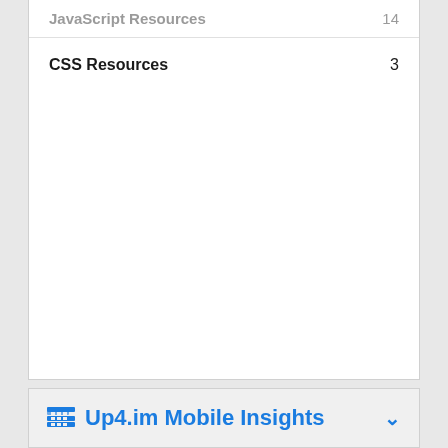| Resource Type | Count |
| --- | --- |
| JavaScript Resources | 14 |
| CSS Resources | 3 |
Up4.im Mobile Insights